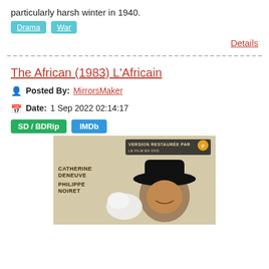particularly harsh winter in 1940.
Drama
War
Details
The African (1983) L'Africain
Posted By: MirrorsMaker
Date: 1 Sep 2022 02:14:17
SD / BDRip   IMDb
[Figure (photo): Movie poster for L'Africain (1983) showing a man in a wide-brimmed black hat. Text on poster: CATHERINE DENEUVE, PHILIPPE NOIRET, VERSION RESTAURÉE PAR [Pathé logo] LE FILM EN DVD]